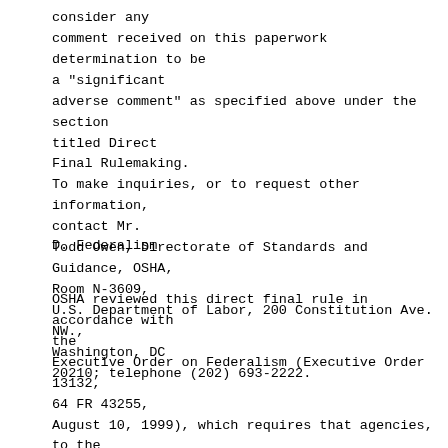consider any comment received on this paperwork determination to be a "significant adverse comment" as specified above under the section titled Direct Final Rulemaking. To make inquiries, or to request other information, contact Mr. Todd Owen, Directorate of Standards and Guidance, OSHA, Room N-3609, U.S. Department of Labor, 200 Constitution Ave. NW., Washington, DC 20210; telephone (202) 693-2222.
D. Federalism
OSHA reviewed this direct final rule in accordance with the Executive Order on Federalism (Executive Order 13132, 64 FR 43255, August 10, 1999), which requires that agencies, to the extent possible, refrain from limiting state policy options, consult